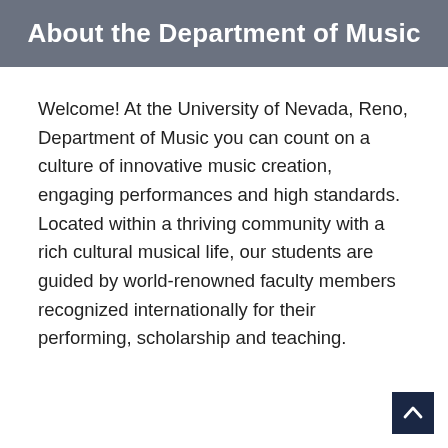About the Department of Music
Welcome! At the University of Nevada, Reno, Department of Music you can count on a culture of innovative music creation, engaging performances and high standards. Located within a thriving community with a rich cultural musical life, our students are guided by world-renowned faculty members recognized internationally for their performing, scholarship and teaching.